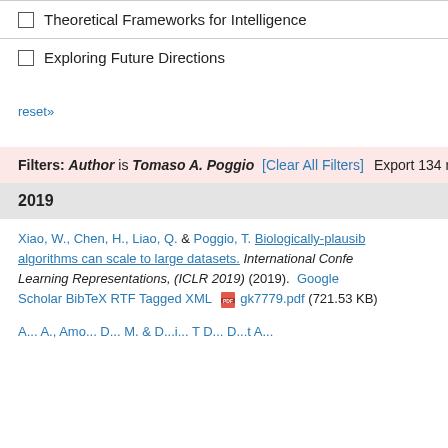Theoretical Frameworks for Intelligence
Exploring Future Directions
reset»
Filters: Author is Tomaso A. Poggio [Clear All Filters]  Export 134 results:  B
2019
Xiao, W., Chen, H., Liao, Q. & Poggio, T. Biologically-plausib algorithms can scale to large datasets. International Confe Learning Representations, (ICLR 2019) (2019). Google Scholar BibTeX RTF Tagged XML gk7779.pdf (721.53 KB)
A... A. Amo... D... M. & D...i... T D... D...t A...